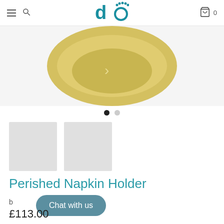do — navigation header with menu, search, logo, cart (0)
[Figure (photo): Yellow/gold bowl-shaped product (napkin holder) viewed from above, cropped, on white background]
[Figure (photo): Two thumbnail images (light grey placeholders) for product gallery]
Perished Napkin Holder
by
Chat with us
£113.00